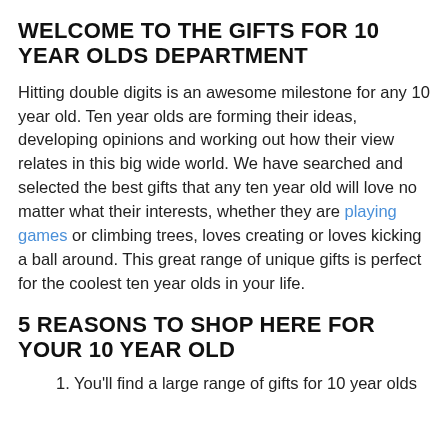WELCOME TO THE GIFTS FOR 10 YEAR OLDS DEPARTMENT
Hitting double digits is an awesome milestone for any 10 year old. Ten year olds are forming their ideas, developing opinions and working out how their view relates in this big wide world. We have searched and selected the best gifts that any ten year old will love no matter what their interests, whether they are playing games or climbing trees, loves creating or loves kicking a ball around. This great range of unique gifts is perfect for the coolest ten year olds in your life.
5 REASONS TO SHOP HERE FOR YOUR 10 YEAR OLD
You'll find a large range of gifts for 10 year olds